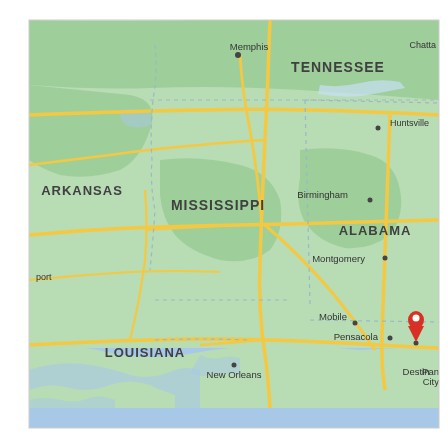[Figure (map): Google Maps screenshot showing the southeastern United States, including states labeled: Tennessee, Arkansas, Mississippi, Alabama, Louisiana. Cities marked include Memphis, Huntsville, Chatta(nooga), Birmingham, Montgomery, Mobile, Pensacola, New Orleans, and Destin (with a red map pin marker). Major highways shown as yellow roads. State borders indicated with dashed lines. Gulf of Mexico visible at the bottom with blue water. A red location pin marks Destin, Florida in the lower right.]